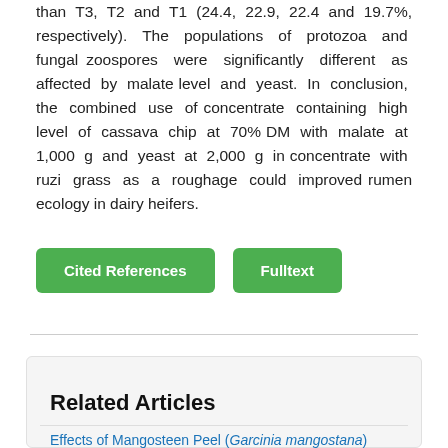than T3, T2 and T1 (24.4, 22.9, 22.4 and 19.7%, respectively). The populations of protozoa and fungal zoospores were significantly different as affected by malate level and yeast. In conclusion, the combined use of concentrate containing high level of cassava chip at 70% DM with malate at 1,000 g and yeast at 2,000 g in concentrate with ruzi grass as a roughage could improved rumen ecology in dairy heifers.
Cited References
Fulltext
Related Articles
Effects of Mangosteen Peel (Garcinia mangostana)